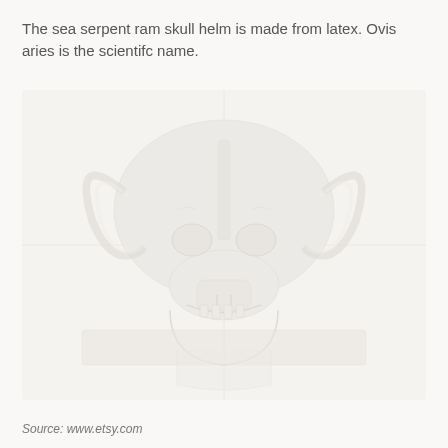The sea serpent ram skull helm is made from latex. Ovis aries is the scientifc name.
[Figure (photo): Faint watermark-style image of a ram skull helmet, very light and washed out against the light background, showing a skull with horns in a helmet form.]
Source: www.etsy.com